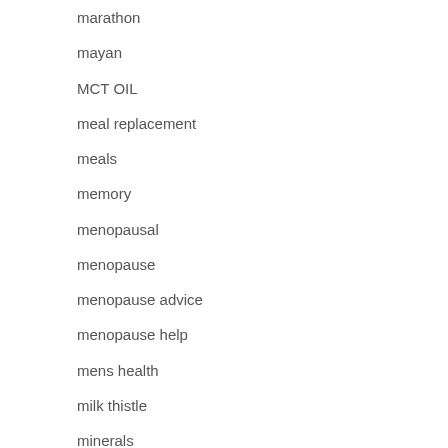marathon
mayan
MCT OIL
meal replacement
meals
memory
menopausal
menopause
menopause advice
menopause help
mens health
milk thistle
minerals
minerlas
mood